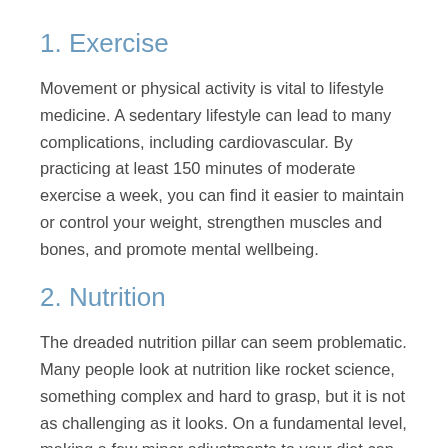1. Exercise
Movement or physical activity is vital to lifestyle medicine. A sedentary lifestyle can lead to many complications, including cardiovascular. By practicing at least 150 minutes of moderate exercise a week, you can find it easier to maintain or control your weight, strengthen muscles and bones, and promote mental wellbeing.
2. Nutrition
The dreaded nutrition pillar can seem problematic. Many people look at nutrition like rocket science, something complex and hard to grasp, but it is not as challenging as it looks. On a fundamental level, making a few minor adjustments to your diet can drastically improve your health. For example, eat out less than twice per week